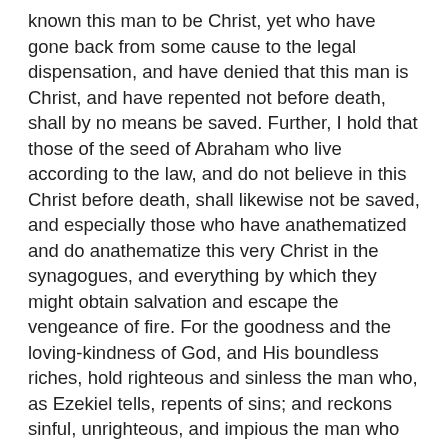known this man to be Christ, yet who have gone back from some cause to the legal dispensation, and have denied that this man is Christ, and have repented not before death, shall by no means be saved. Further, I hold that those of the seed of Abraham who live according to the law, and do not believe in this Christ before death, shall likewise not be saved, and especially those who have anathematized and do anathematize this very Christ in the synagogues, and everything by which they might obtain salvation and escape the vengeance of fire. For the goodness and the loving-kindness of God, and His boundless riches, hold righteous and sinless the man who, as Ezekiel tells, repents of sins; and reckons sinful, unrighteous, and impious the man who fails away from piety and